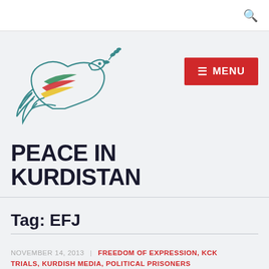[Figure (logo): Peace in Kurdistan logo: dove with olive branch, wings colored with green, red, yellow stripes (Kurdish flag colors), teal/dark teal outline]
[Figure (other): Red MENU button with hamburger icon (three horizontal lines)]
PEACE IN KURDISTAN
Tag: EFJ
NOVEMBER 14, 2013 | FREEDOM OF EXPRESSION, KCK TRIALS, KURDISH MEDIA, POLITICAL PRISONERS